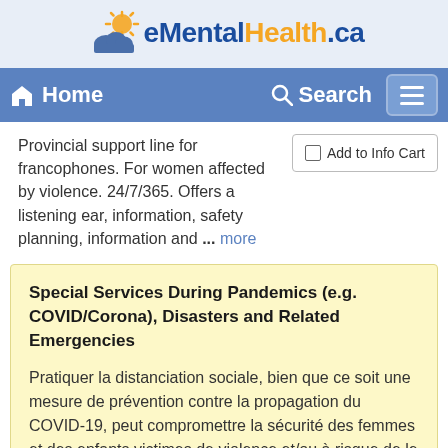[Figure (logo): eMentalHealth.ca logo with sun and cloud icon, blue and orange text]
Home    Search
Provincial support line for francophones. For women affected by violence. 24/7/365. Offers a listening ear, information, safety planning, information and ... more
Add to Info Cart
Special Services During Pandemics (e.g. COVID/Corona), Disasters and Related Emergencies
Pratiquer la distanciation sociale, bien que ce soit une mesure de prévention contre la propagation du COVID-19, peut compromettre la sécurité des femmes et des enfants victimes de violence et/ou à risque de le devenir.